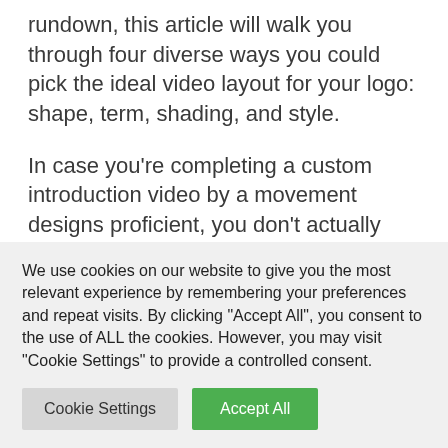rundown, this article will walk you through four diverse ways you could pick the ideal video layout for your logo: shape, term, shading, and style.
In case you're completing a custom introduction video by a movement designs proficient, you don't actually have to stress over this progression. They will deal with estimating and putting your logo suitably for the liveliness that they make for you.
We use cookies on our website to give you the most relevant experience by remembering your preferences and repeat visits. By clicking "Accept All", you consent to the use of ALL the cookies. However, you may visit "Cookie Settings" to provide a controlled consent.
Cookie Settings | Accept All